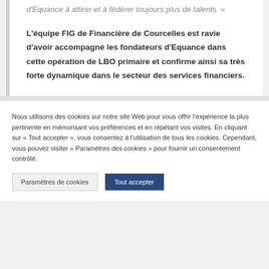d'Equance à attirer et à fédérer toujours plus de talents. »
L'équipe FIG de Financière de Courcelles est ravie d'avoir accompagné les fondateurs d'Equance dans cette opération de LBO primaire et confirme ainsi sa très forte dynamique dans le secteur des services financiers.
Nous utilisons des cookies sur notre site Web pour vous offrir l'expérience la plus pertinente en mémorisant vos préférences et en répétant vos visites. En cliquant sur « Tout accepter », vous consentez à l'utilisation de tous les cookies. Cependant, vous pouvez visiter « Paramètres des cookies » pour fournir un consentement contrôlé.
Paramètres de cookies
Tout accepter